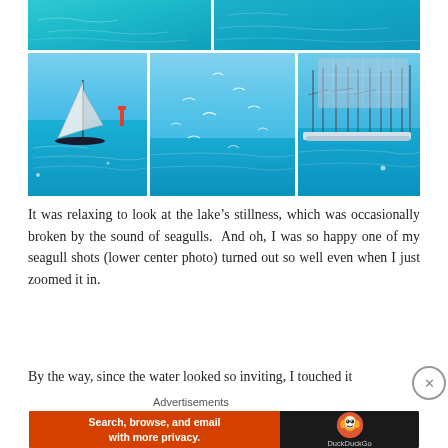[Figure (photo): Photo collage of lake scenes: top row shows two wide ocean/lake water photos with blue-green water; bottom row shows three photos: left is a sailboat near a lighthouse on blue water, center is seagulls flying over open water, right is a marina with many sailboats docked]
It was relaxing to look at the lake’s stillness, which was occasionally broken by the sound of seagulls.  And oh, I was so happy one of my seagull shots (lower center photo) turned out so well even when I just zoomed it in.
By the way, since the water looked so inviting, I touched it
Advertisements
[Figure (screenshot): DuckDuckGo advertisement banner: orange left panel with text 'Search, browse, and email with more privacy.' and 'All in One Free App' button; dark right panel with DuckDuckGo duck logo and 'DuckDuckGo' text]